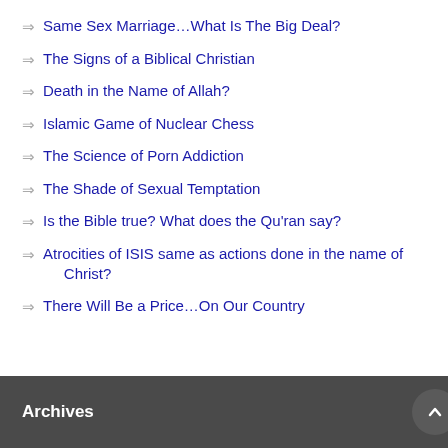Same Sex Marriage…What Is The Big Deal?
The Signs of a Biblical Christian
Death in the Name of Allah?
Islamic Game of Nuclear Chess
The Science of Porn Addiction
The Shade of Sexual Temptation
Is the Bible true? What does the Qu'ran say?
Atrocities of ISIS same as actions done in the name of Christ?
There Will Be a Price…On Our Country
Archives
December 2019